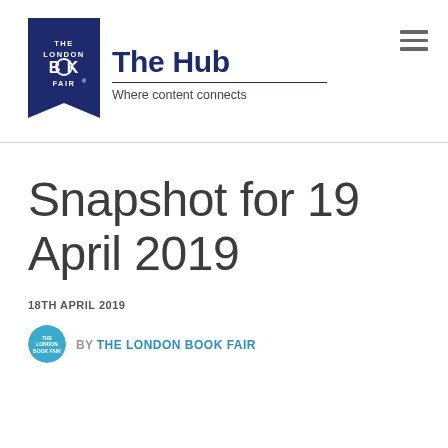[Figure (logo): The London Book Fair logo — a dark navy ribbon/bookmark shape with white text reading THE LONDON BOOK FAIR with a registered trademark symbol, alongside the text 'The Hub' in large navy bold font and tagline 'Where content connects' below a horizontal rule]
Snapshot for 19 April 2019
18TH APRIL 2019
BY THE LONDON BOOK FAIR